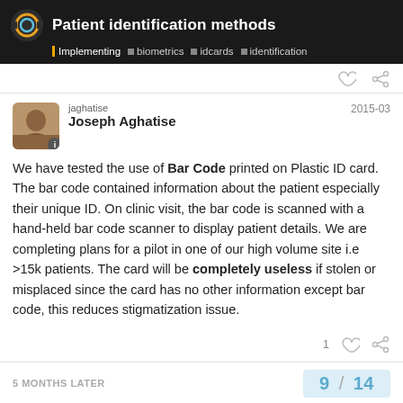Patient identification methods | Implementing biometrics idcards identification
jaghatise
Joseph Aghatise
2015-03
We have tested the use of Bar Code printed on Plastic ID card. The bar code contained information about the patient especially their unique ID. On clinic visit, the bar code is scanned with a hand-held bar code scanner to display patient details. We are completing plans for a pilot in one of our high volume site i.e >15k patients. The card will be completely useless if stolen or misplaced since the card has no other information except bar code, this reduces stigmatization issue.
5 MONTHS LATER
9 / 14